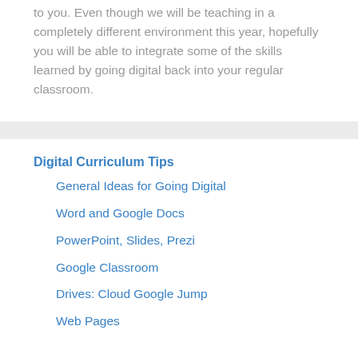to you. Even though we will be teaching in a completely different environment this year, hopefully you will be able to integrate some of the skills learned by going digital back into your regular classroom.
Digital Curriculum Tips
General Ideas for Going Digital
Word and Google Docs
PowerPoint, Slides, Prezi
Google Classroom
Drives: Cloud Google Jump
Web Pages